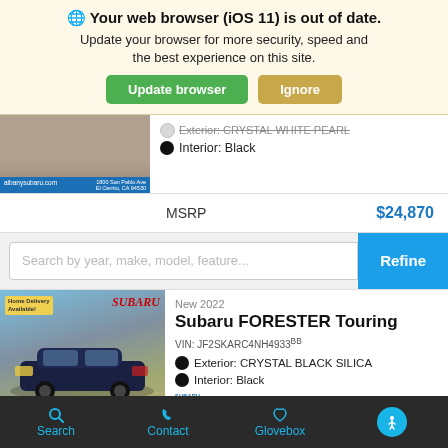🌐 Your web browser (iOS 11) is out of date. Update your browser for more security, speed and the best experience on this site.
Update browser | Ignore
Exterior: CRYSTAL WHITE PEARL (partially visible)
Interior: Black
MSRP   $24,870
Search by year, make, model, feature...   Refine
New 2022
Subaru FORESTER Touring
VIN: JF2SKARC4NH4933BB
Exterior: CRYSTAL BLACK SILICA
Interior: Black
[Figure (screenshot): Subaru Albany car listing photo with dealer bar showing albanysubaru.com]
Search   Contact   Glovebox